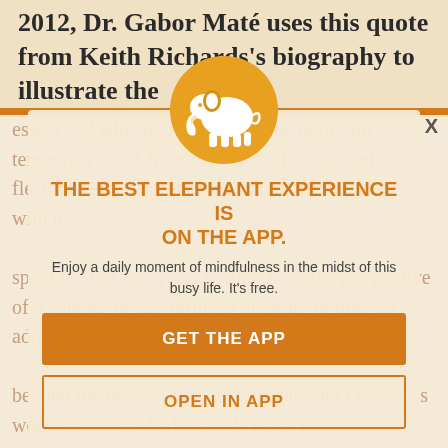2012, Dr. Gabor Mate uses this quote from Keith Richards's biography to illustrate the
essence of addictive behavior—the desire for temporary relief from pain and suffering, and the fleeting sense of calmness and control that comes with it.
[Figure (illustration): Orange circle with white elephant silhouette icon]
THE BEST ELEPHANT EXPERIENCE IS ON THE APP.
Enjoy a daily moment of mindfulness in the midst of this busy life. It's free.
GET THE APP
OPEN IN APP